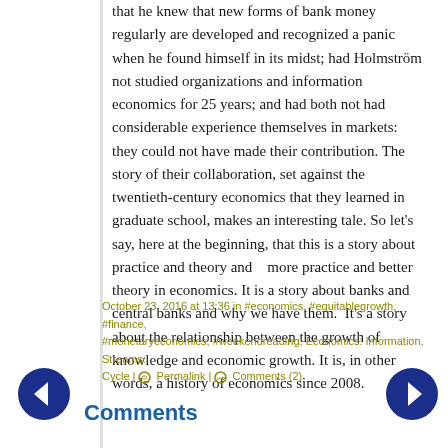that he knew that new forms of bank money regularly are developed and recognized a panic when he found himself in its midst; had Holmström not studied organizations and information economics for 25 years; and had both not had considerable experience themselves in markets:  they could not have made their contribution. The story of their collaboration, set against the twentieth-century economics that they learned in graduate school, makes an interesting tale. So let's say, here at the beginning, that this is a story about practice and theory and   more practice and better theory in economics. It is a story about banks and central banks and why we have them.  It's a story about the relationship between the growth of knowledge and economic growth. It is, in other words, a history of economics since 2008.
October 23, 2016 at 13:36 in #economics, #equitablegrowth, #finance, #monetaryeconomics, #weekendreading, Economics: Information, Streams: Cycle | Permalink | Comments (2)
Comments